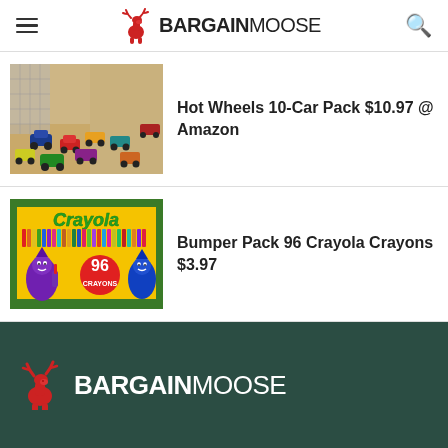BargainMoose
[Figure (photo): Hot Wheels toy cars spread on a wooden floor]
Hot Wheels 10-Car Pack $10.97 @ Amazon
[Figure (photo): Crayola 96 Crayons Bumper Pack box with yellow background]
Bumper Pack 96 Crayola Crayons $3.97
BARGAINMOOSE